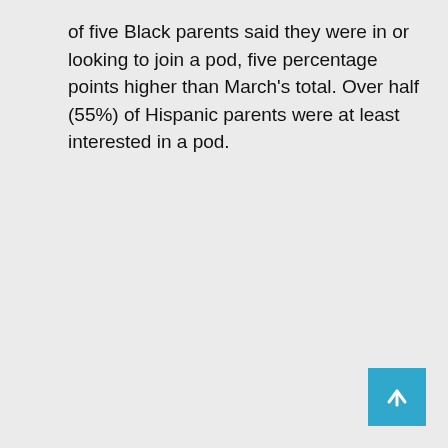of five Black parents said they were in or looking to join a pod, five percentage points higher than March's total. Over half (55%) of Hispanic parents were at least interested in a pod.
[Figure (other): Back to top button — a teal/blue square with a white upward arrow icon in the bottom-right corner of the page.]